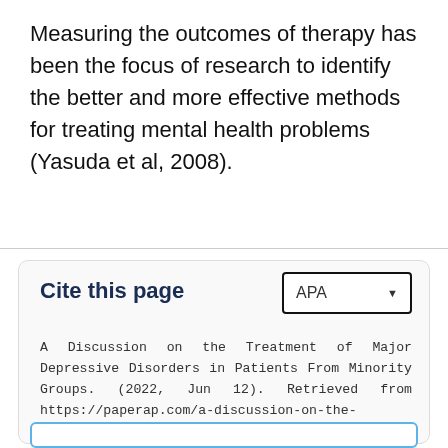Measuring the outcomes of therapy has been the focus of research to identify the better and more effective methods for treating mental health problems (Yasuda et al, 2008).
Cite this page
A Discussion on the Treatment of Major Depressive Disorders in Patients From Minority Groups. (2022, Jun 12). Retrieved from https://paperap.com/a-discussion-on-the-treatment-of-major-depressive-disorders-in-patients-from-minority-groups/